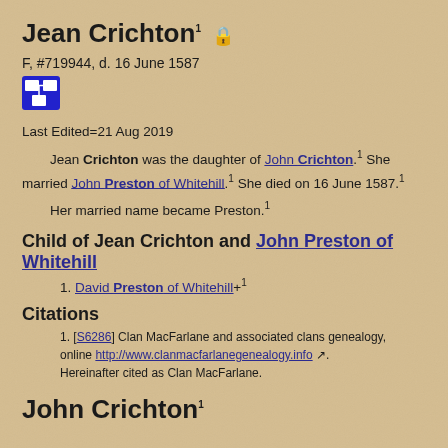Jean Crichton¹ 🔒
F, #719944, d. 16 June 1587
Last Edited=21 Aug 2019
Jean Crichton was the daughter of John Crichton.¹ She married John Preston of Whitehill.¹ She died on 16 June 1587.¹
Her married name became Preston.¹
Child of Jean Crichton and John Preston of Whitehill
1. David Preston of Whitehill+¹
Citations
1. [S6286] Clan MacFarlane and associated clans genealogy, online http://www.clanmacfarlanegenealogy.info. Hereinafter cited as Clan MacFarlane.
John Crichton¹